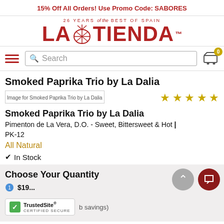15% Off All Orders! Use Promo Code: SABORES
[Figure (logo): La Tienda logo with text '26 YEARS of the BEST OF SPAIN' and stylized shell graphic]
[Figure (screenshot): Navigation row with hamburger menu, search box, and cart icon with badge 0]
Smoked Paprika Trio by La Dalia
[Figure (photo): Image for Smoked Paprika Trio by La Dalia with 4 gold stars rating]
Smoked Paprika Trio by La Dalia
Pimenton de La Vera, D.O. - Sweet, Bittersweet & Hot | PK-12
All Natural
✓ In Stock
Choose Your Quantity
savings)
[Figure (logo): TrustedSite Certified Secure badge]